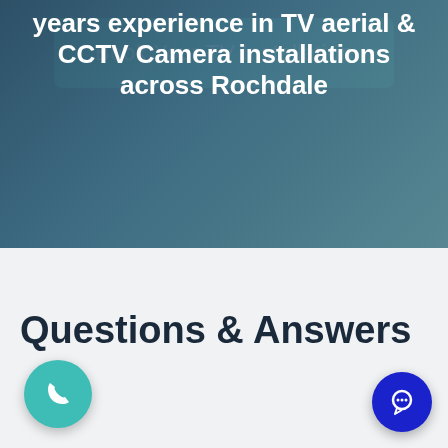years experience in TV aerial & CCTV Camera installations across Rochdale
[Figure (other): Teal/cyan call-to-action button reading 'Book Your TV Installation' on a dark teal/blue background]
Questions & Answers
[Figure (other): Teal circular phone/call button in bottom-left corner]
[Figure (other): Dark blue circular chat button in bottom-right corner]